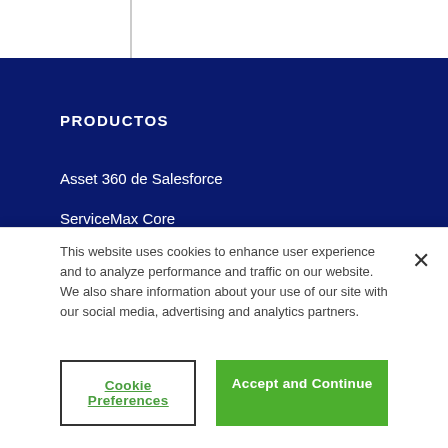PRODUCTOS
Asset 360 de Salesforce
ServiceMax Core
ServiceMax FieldFX
INICIAR SESIÓN
This website uses cookies to enhance user experience and to analyze performance and traffic on our website. We also share information about your use of our site with our social media, advertising and analytics partners.
Cookie Preferences
Accept and Continue